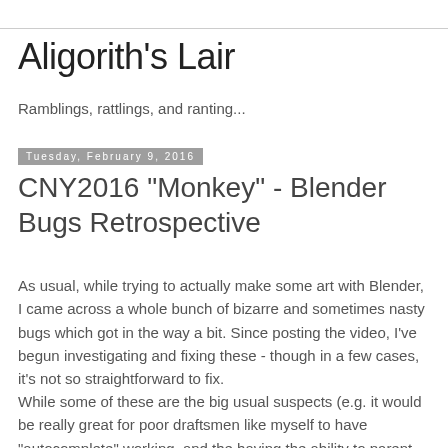Aligorith's Lair
Ramblings, rattlings, and ranting...
Tuesday, February 9, 2016
CNY2016 "Monkey" - Blender Bugs Retrospective
As usual, while trying to actually make some art with Blender, I came across a whole bunch of bizarre and sometimes nasty bugs which got in the way a bit. Since posting the video, I've begun investigating and fixing these - though in a few cases, it's not so straightforward to fix.
While some of these are the big usual suspects (e.g. it would be really great for poor draftsmen like myself to have "autocomplete" working, and the having the ability to parent strokes to objects/bones would really help for doing things like calculating motion paths), there were also a number of